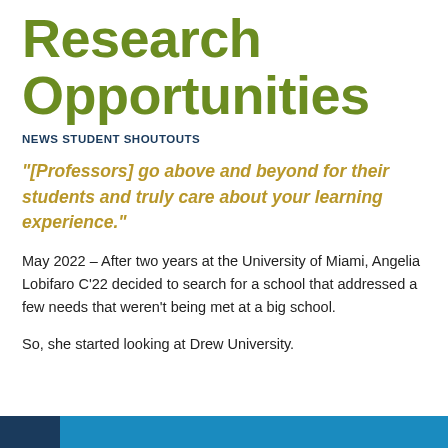Research Opportunities
NEWS STUDENT SHOUTOUTS
“[Professors] go above and beyond for their students and truly care about your learning experience.”
May 2022 – After two years at the University of Miami, Angelia Lobifaro C’22 decided to search for a school that addressed a few needs that weren’t being met at a big school.
So, she started looking at Drew University.